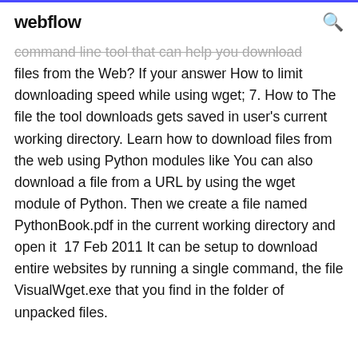webflow
command line tool that can help you download files from the Web? If your answer How to limit downloading speed while using wget; 7. How to The file the tool downloads gets saved in user's current working directory. Learn how to download files from the web using Python modules like You can also download a file from a URL by using the wget module of Python. Then we create a file named PythonBook.pdf in the current working directory and open it  17 Feb 2011 It can be setup to download entire websites by running a single command, the file VisualWget.exe that you find in the folder of unpacked files.